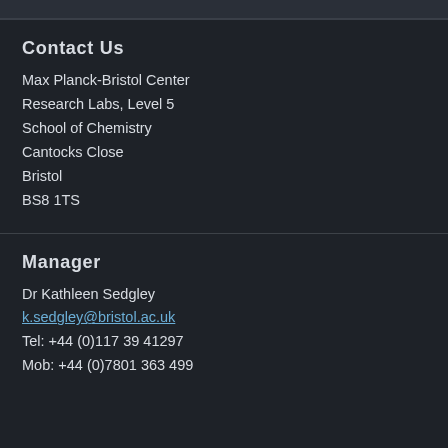Contact Us
Max Planck-Bristol Center
Research Labs, Level 5
School of Chemistry
Cantocks Close
Bristol
BS8 1TS
Manager
Dr Kathleen Sedgley
k.sedgley@bristol.ac.uk
Tel: +44 (0)117 39 41297
Mob: +44 (0)7801 363 499